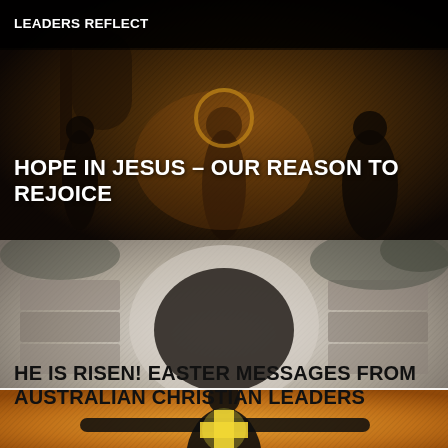[Figure (photo): Dark toned photograph of a church interior/exterior with figures, warm amber tones, partially obscured by dark overlay]
HOPE IN JESUS – OUR REASON TO REJOICE
[Figure (photo): Black and white photograph of a stone tomb entrance, likely depicting the empty tomb of Jesus]
HE IS RISEN! EASTER MESSAGES FROM AUSTRALIAN CHRISTIAN LEADERS
[Figure (photo): Warm orange/gold toned image showing silhouette of a person with outstretched arms and a glowing cross]